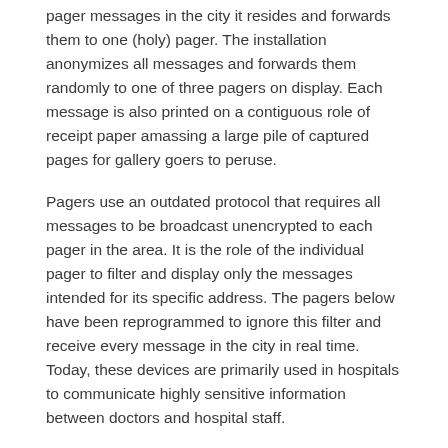pager messages in the city it resides and forwards them to one (holy) pager. The installation anonymizes all messages and forwards them randomly to one of three pagers on display. Each message is also printed on a contiguous role of receipt paper amassing a large pile of captured pages for gallery goers to peruse.
Pagers use an outdated protocol that requires all messages to be broadcast unencrypted to each pager in the area. It is the role of the individual pager to filter and display only the messages intended for its specific address. The pagers below have been reprogrammed to ignore this filter and receive every message in the city in real time. Today, these devices are primarily used in hospitals to communicate highly sensitive information between doctors and hospital staff.
Given the severity of the HIPPA Privacy Act, one would assume that appropriate measures would be taken to prevent this information from being publicly accessible to the general public. This project serves as a reminder that as the complexity and proliferation of digital systems increase the